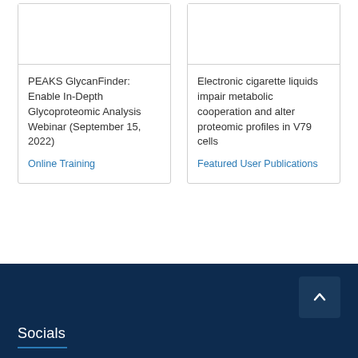PEAKS GlycanFinder: Enable In-Depth Glycoproteomic Analysis Webinar (September 15, 2022)
Online Training
Electronic cigarette liquids impair metabolic cooperation and alter proteomic profiles in V79 cells
Featured User Publications
Socials